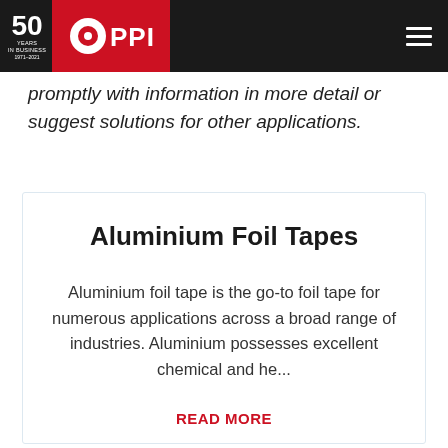PPI — 50 Years in Business 1971-2021
promptly with information in more detail or suggest solutions for other applications.
Aluminium Foil Tapes
Aluminium foil tape is the go-to foil tape for numerous applications across a broad range of industries. Aluminium possesses excellent chemical and he...
READ MORE